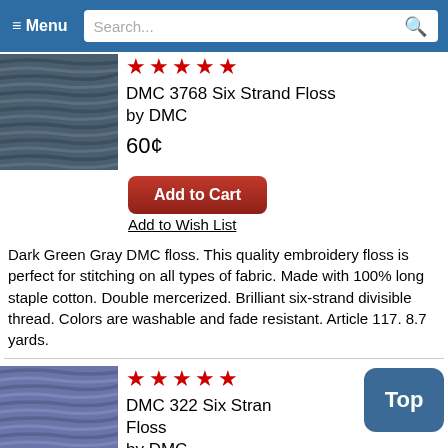≡ Menu  Search...
[Figure (photo): Dark blue-gray twisted embroidery floss threads]
★★★★★
DMC 3768 Six Strand Floss
by DMC
60¢
Add to Cart
Add to Wish List
Dark Green Gray DMC floss. This quality embroidery floss is perfect for stitching on all types of fabric. Made with 100% long staple cotton. Double mercerized. Brilliant six-strand divisible thread. Colors are washable and fade resistant. Article 117. 8.7 yards.
[Figure (photo): Blue-purple twisted embroidery floss threads]
★★★★★
DMC 322 Six Strand Floss
by DMC
Top